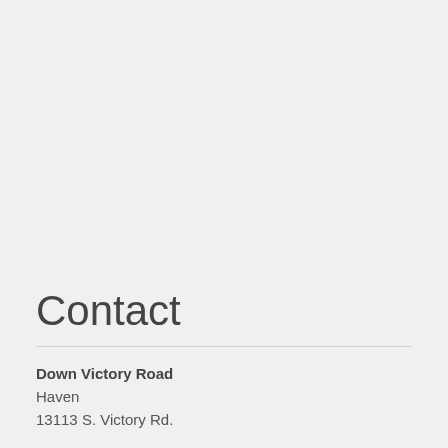Contact
Down Victory Road
Haven
13113 S. Victory Rd.